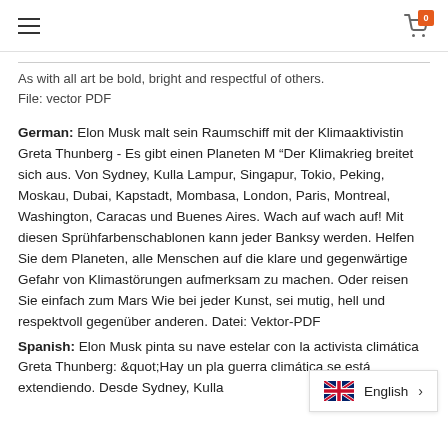≡  [cart icon] 0
As with all art be bold, bright and respectful of others. File: vector PDF
German: Elon Musk malt sein Raumschiff mit der Klimaaktivistin Greta Thunberg - Es gibt einen Planeten M " Der Klimakrieg breitet sich aus. Von Sydney, Kulla Lampur, Singapur, Tokio, Peking, Moskau, Dubai, Kapstadt, Mombasa, London, Paris, Montreal, Washington, Caracas und Buenes Aires. Wach auf wach auf! Mit diesen Sprühfarbenschablonen kann jeder Banksy werden. Helfen Sie dem Planeten, alle Menschen auf die klare und gegenwärtige Gefahr von Klimastörungen aufmerksam zu machen. Oder reisen Sie einfach zum Mars Wie bei jeder Kunst, sei mutig, hell und respektvoll gegenüber anderen. Datei: Vektor-PDF
Spanish: Elon Musk pinta su nave estelar con la activista climática Greta Thunberg: &quot;Hay un pla... guerra climática se está extendiendo. Desde Sydney, Kulla